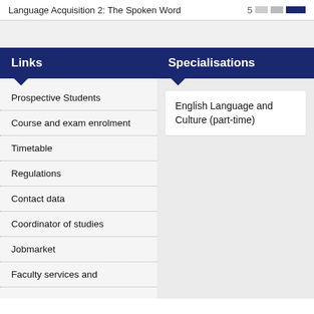Language Acquisition 2: The Spoken Word  5
Links
Prospective Students
Course and exam enrolment
Timetable
Regulations
Contact data
Coordinator of studies
Jobmarket
Faculty services and
Specialisations
English Language and Culture (part-time)